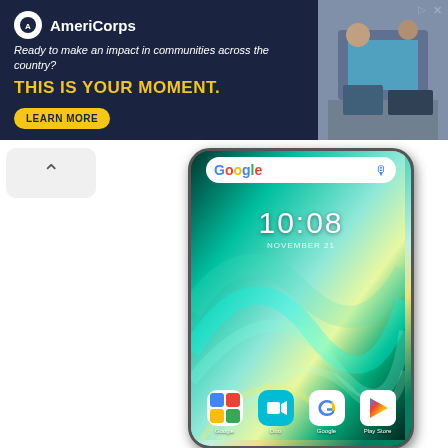[Figure (screenshot): AmeriCorps advertisement banner with dark navy background. Shows AmeriCorps logo, tagline 'Ready to make an impact in communities across the country?', headline 'THIS IS YOUR MOMENT.' in yellow, a 'LEARN MORE' button, and a photo of people at computers on the right.]
[Figure (screenshot): Android smartphone showing home screen with time 10:08, date November 21, Google search bar at top, colorful teal/green abstract wallpaper, and app icons at bottom: Google, Duo, Google, Play Store.]